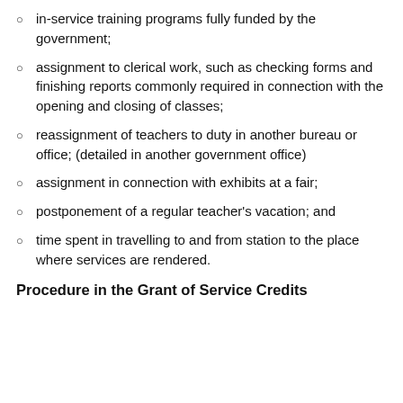in-service training programs fully funded by the government;
assignment to clerical work, such as checking forms and finishing reports commonly required in connection with the opening and closing of classes;
reassignment of teachers to duty in another bureau or office; (detailed in another government office)
assignment in connection with exhibits at a fair;
postponement of a regular teacher's vacation; and
time spent in travelling to and from station to the place where services are rendered.
Procedure in the Grant of Service Credits